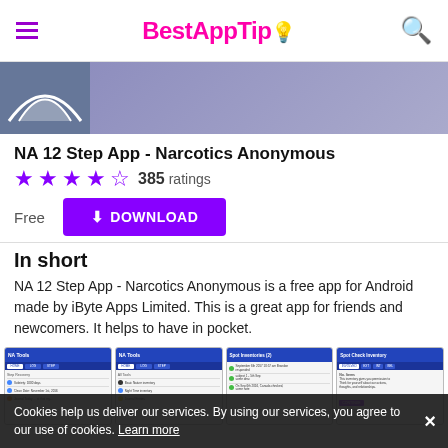BestAppTip
[Figure (screenshot): App banner with tent/arc icon on purple-grey background]
NA 12 Step App - Narcotics Anonymous
★★★★½  385 ratings
Free   DOWNLOAD
In short
NA 12 Step App - Narcotics Anonymous is a free app for Android made by iByte Apps Limited. This is a great app for friends and newcomers. It helps to have in pocket.
[Figure (screenshot): Four app screenshots showing the NA 12 Steps app interface with lists and inventory screens]
Cookies help us deliver our services. By using our services, you agree to our use of cookies. Learn more